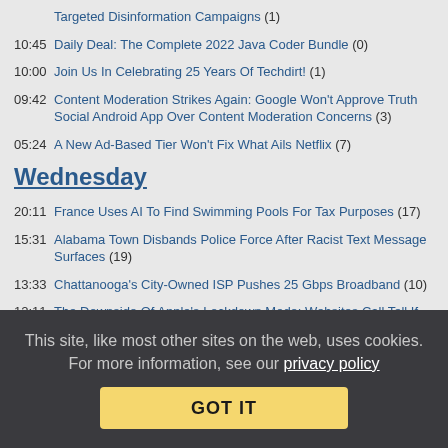Targeted Disinformation Campaigns (1)
10:45 Daily Deal: The Complete 2022 Java Coder Bundle (0)
10:00 Join Us In Celebrating 25 Years Of Techdirt! (1)
09:42 Content Moderation Strikes Again: Google Won't Approve Truth Social Android App Over Content Moderation Concerns (3)
05:24 A New Ad-Based Tier Won't Fix What Ails Netflix (7)
Wednesday
20:11 France Uses AI To Find Swimming Pools For Tax Purposes (17)
15:31 Alabama Town Disbands Police Force After Racist Text Message Surfaces (19)
13:33 Chattanooga's City-Owned ISP Pushes 25 Gbps Broadband (10)
12:11 The Downside Of Apple's Lockdown Mode: Websites Call Tell If You're Using It (16)
10:53 The Public Paid For Moderna's mRNA Vaccine Tech; The Fact That Moderna Is Suing Over The Patent Is A Travesty (10)
More →
This site, like most other sites on the web, uses cookies. For more information, see our privacy policy GOT IT